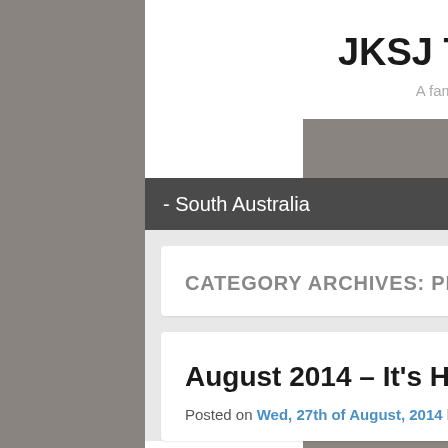JKSJ Travelling 2015
A family journey around Australia.
- South Australia
CATEGORY ARCHIVES: PRE-TRAVEL PLANNING
August 2014 – It's HERE!
Posted on Wed, 27th of August, 2014 by Julian